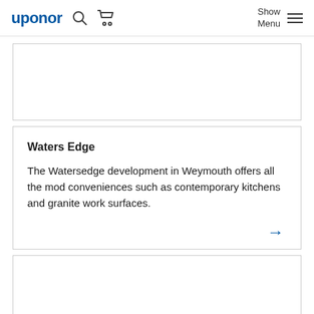uponor [search] [cart] Show Menu
[Figure (other): Empty image card area at top]
Waters Edge
The Watersedge development in Weymouth offers all the mod conveniences such as contemporary kitchens and granite work surfaces.
[Figure (other): Empty image card area at bottom]